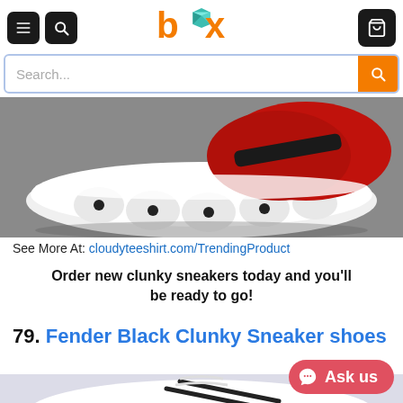box — navigation header with menu, search, and cart icons
Search...
[Figure (photo): Close-up of a white chunky sneaker sole with black and red mesh upper, on a grey background]
See More At: cloudyteeshirt.com/TrendingProduct
Order new clunky sneakers today and you'll be ready to go!
79. Fender Black Clunky Sneaker shoes
[Figure (photo): Partial view of a white sneaker with black accents and laces on a light lavender background]
Ask us